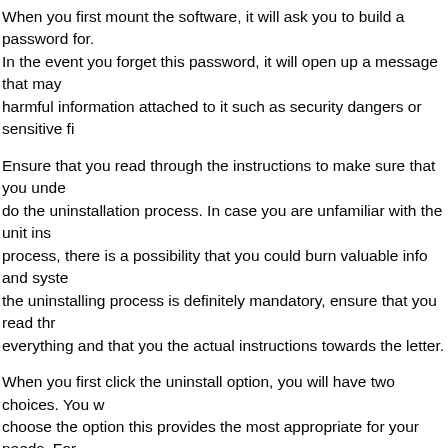When you first mount the software, it will ask you to build a password for. In the event you forget this password, it will open up a message that may harmful information attached to it such as security dangers or sensitive fi
Ensure that you read through the instructions to make sure that you unde do the uninstallation process. In case you are unfamiliar with the unit ins process, there is a possibility that you could burn valuable info and syste the uninstalling process is definitely mandatory, ensure that you read thr everything and that you the actual instructions towards the letter.
When you first click the uninstall option, you will have two choices. You w choose the option this provides the most appropriate for your needs. For case you are not familiar with the programs which can be included, you w the remove option that does not include any software.
As soon as you select the option that you would like, you will be asked to window so that the removal instrument can de-activate your computer. Th order to ensure that each of the programs and files on your computer are removed. After everything is completed, restart your pc and you should s Kaspersky icon to the task club.
For most for the programs that are included in the Kaspersky software, th